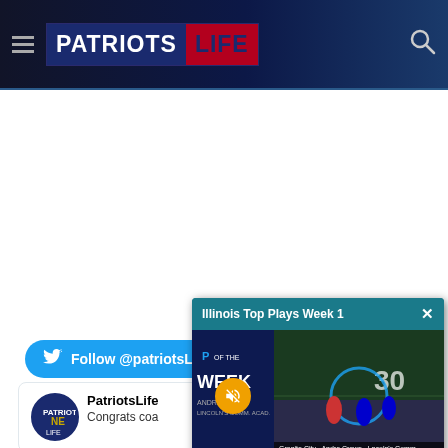Patriots Life
Follow @patriotsLife
[Figure (screenshot): Illinois Top Plays Week 1 video popup overlay with mute button and football game footage thumbnail]
PatriotsLife — Congrats coa